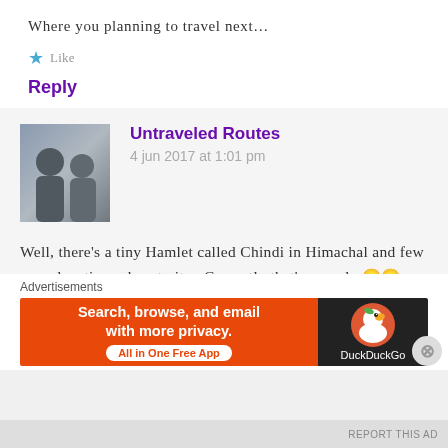Where you planning to travel next…
Like
Reply
Untraveled Routes
4 jun 2017 at 1:01 pm
Well, there's a tiny Hamlet called Chindi in Himachal and few more locations close to it… Currently that's on radar😊😊
Advertisements
[Figure (screenshot): DuckDuckGo advertisement banner: orange section with text 'Search, browse, and email with more privacy. All in One Free App' and dark section with DuckDuckGo logo and duck icon.]